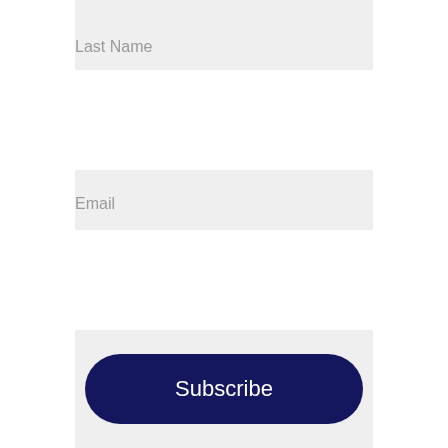Last Name
[Figure (other): Empty text input field for Last Name]
Email
[Figure (other): Empty text input field for Email]
Subscribe